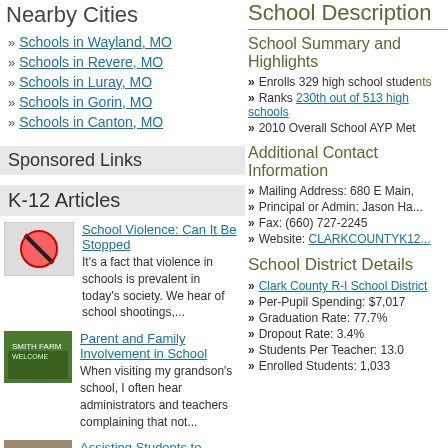Nearby Cities
Schools in Wayland, MO
Schools in Revere, MO
Schools in Luray, MO
Schools in Gorin, MO
Schools in Canton, MO
Sponsored Links
K-12 Articles
School Violence: Can It Be Stopped — It's a fact that violence in schools is prevalent in today's society. We hear of school shootings,...
Parent and Family Involvement in School — When visiting my grandson's school, I often hear administrators and teachers complaining that not...
Assisting Students to Overcome Test Anxiety — Every human copes with anxiety at one time or another. It is a...
School Description
School Summary and Highlights
Enrolls 329 high school students
Ranks 230th out of 513 high schools
2010 Overall School AYP Met...
Additional Contact Information
Mailing Address: 680 E Main,
Principal or Admin: Jason Ha...
Fax: (660) 727-2245
Website: CLARKCOUNTYK1...
School District Details
Clark County R-I School District
Per-Pupil Spending: $7,017
Graduation Rate: 77.7%
Dropout Rate: 3.4%
Students Per Teacher: 13.0
Enrolled Students: 1,033